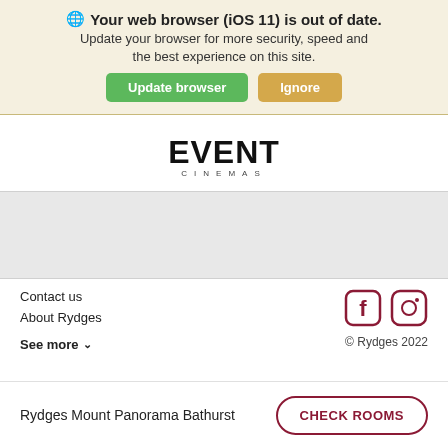🌐 Your web browser (iOS 11) is out of date. Update your browser for more security, speed and the best experience on this site.
Update browser
Ignore
[Figure (logo): EVENT CINEMAS logo in bold black text with 'CINEMAS' in small spaced letters below]
Contact us
About Rydges
See more ∨
[Figure (illustration): Facebook and Instagram social icons in dark red/maroon outline style]
© Rydges 2022
Rydges Mount Panorama Bathurst
CHECK ROOMS